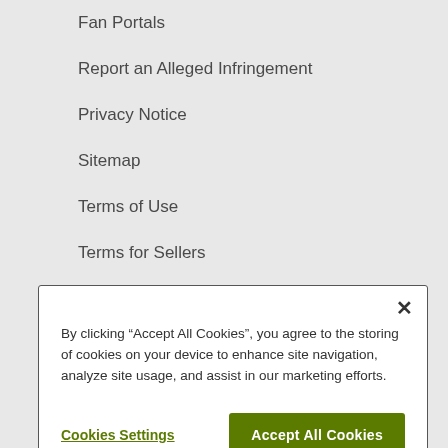Fan Portals
Report an Alleged Infringement
Privacy Notice
Sitemap
Terms of Use
Terms for Sellers
Supplier Code of Conduct
Web Accessibility
By clicking “Accept All Cookies”, you agree to the storing of cookies on your device to enhance site navigation, analyze site usage, and assist in our marketing efforts.
Cookies Settings
Accept All Cookies